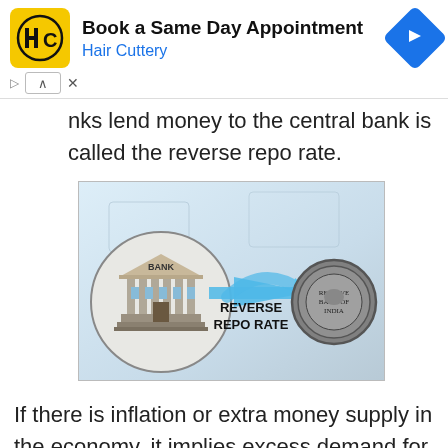[Figure (infographic): Hair Cuttery advertisement banner with yellow HC logo, 'Book a Same Day Appointment' title, 'Hair Cuttery' subtitle in blue, and a blue diamond-shaped navigation arrow icon on the right]
nks lend money to the central bank is called the reverse repo rate.
[Figure (illustration): Infographic showing REVERSE REPO RATE concept: a bank building on the left with a large blue arrow pointing right toward an RBI (Reserve Bank of India) seal/medallion, with Indian currency notes in the background]
If there is inflation or extra money supply in the economy, it implies excess demand for money in the economy. In such a case